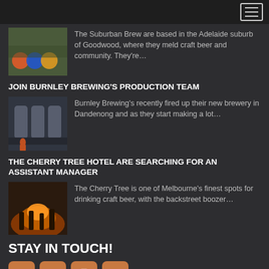The Suburban Brew are based in the Adelaide suburb of Goodwood, where they meld craft beer and community. They're...
JOIN BURNLEY BREWING'S PRODUCTION TEAM
Burnley Brewing's recently fired up their new brewery in Dandenong and as they start making a lot...
THE CHERRY TREE HOTEL ARE SEARCHING FOR AN ASSISTANT MANAGER
The Cherry Tree is one of Melbourne's finest spots for drinking craft beer, with the backstreet boozer...
STAY IN TOUCH!
[Figure (illustration): Social media icons: Facebook, Twitter, Instagram, Vimeo]